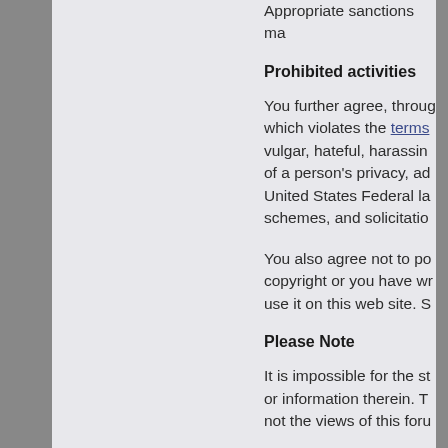Appropriate sanctions ma...
Prohibited activities
You further agree, through... which violates the terms... vulgar, hateful, harassing... of a person's privacy, adu... United States Federal law... schemes, and solicitation...
You also agree not to pos... copyright or you have wri... use it on this web site. Se...
Please Note
It is impossible for the sta... or information therein. Th... not the views of this foru...
Members remain solely re... creating an account you a... forum, any related websit... this forum also reserve th...